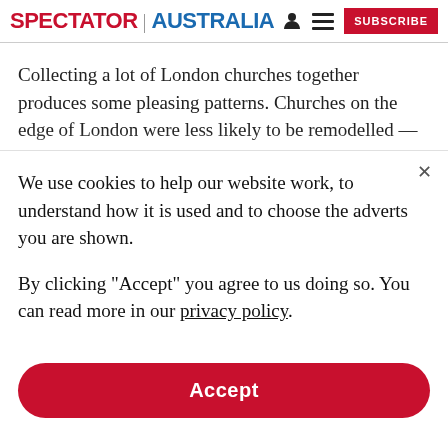SPECTATOR | AUSTRALIA
Collecting a lot of London churches together produces some pleasing patterns. Churches on the edge of London were less likely to be remodelled — or bombed
We use cookies to help our website work, to understand how it is used and to choose the adverts you are shown.
By clicking "Accept" you agree to us doing so. You can read more in our privacy policy.
Accept